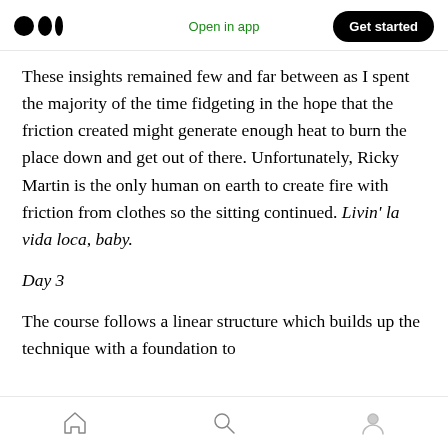Medium logo | Open in app | Get started
These insights remained few and far between as I spent the majority of the time fidgeting in the hope that the friction created might generate enough heat to burn the place down and get out of there. Unfortunately, Ricky Martin is the only human on earth to create fire with friction from clothes so the sitting continued. Livin' la vida loca, baby.
Day 3
The course follows a linear structure which builds up the technique with a foundation to
Home | Search | Profile